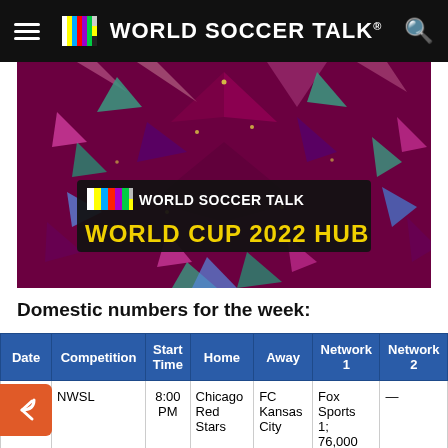WORLD SOCCER TALK
[Figure (illustration): World Soccer Talk World Cup 2022 Hub banner image with colorful geometric stained-glass style background in dark red/maroon tones with blue, teal, pink geometric shapes. Center shows World Soccer Talk logo and text 'WORLD CUP 2022 HUB' in yellow bold letters on a dark banner.]
Domestic numbers for the week:
| Date | Competition | Start Time | Home | Away | Network 1 | Network 2 |
| --- | --- | --- | --- | --- | --- | --- |
| 9/7/16 | NWSL | 8:00 PM | Chicago Red Stars | FC Kansas City | Fox Sports 1; 76,000 | — |